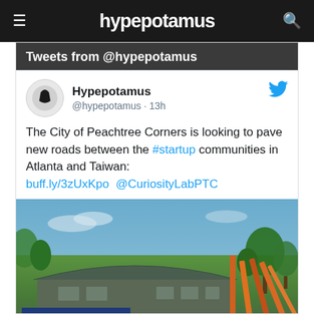hypepotamus
Tweets from @hypepotamus
Hypepotamus @hypepotamus · 13h
The City of Peachtree Corners is looking to pave new roads between the #startup communities in Atlanta and Taiwan: buff.ly/3zUxKpo  @CuriosityLabPTC
[Figure (photo): Exterior photo of Curiosity Lab at Peachtree Corners, showing the building entrance with a colorful sculpture and sign reading 'Curiosity Lab']